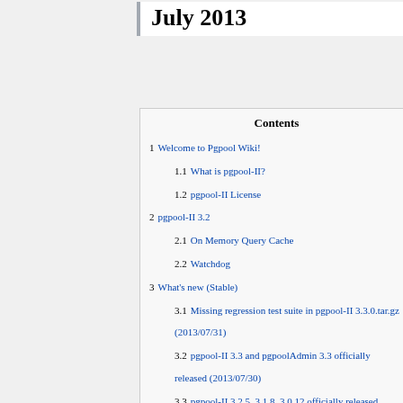July 2013
1 Welcome to Pgpool Wiki!
1.1 What is pgpool-II?
1.2 pgpool-II License
2 pgpool-II 3.2
2.1 On Memory Query Cache
2.2 Watchdog
3 What's new (Stable)
3.1 Missing regression test suite in pgpool-II 3.3.0.tar.gz (2013/07/31)
3.2 pgpool-II 3.3 and pgpoolAdmin 3.3 officially released (2013/07/30)
3.3 pgpool-II 3.2.5, 3.1.8, 3.0.12 officially released (2013/07/10)
3.4 pgpool-II 3.2.4, 3.1.7, 3.0.11 officially released (2013/04/26)
3.5 pgpool-ha 2.1 released (2013/04/26)
3.6 pgpool-II 3.2.3 officially released (2013/02/18)
3.7 pgpool-II 3.2.2, 3.1.6, 3.0.10 and pgpoolAdmin 3.2.2 officially released (2013/02/08)
3.8 pgpool-ha 2.0 released (2012/10/15)
3.9 pgpoolAdmin 3.2.1 officially released (2012/10/15)
3.10 pgpool-II 3.2.1, 3.1.5, 3.0.9 officially released (2012/10/12)
3.11 pgpool-II 3.1.4, 3.0.8, 2.3.4, 2.2.8 officially...